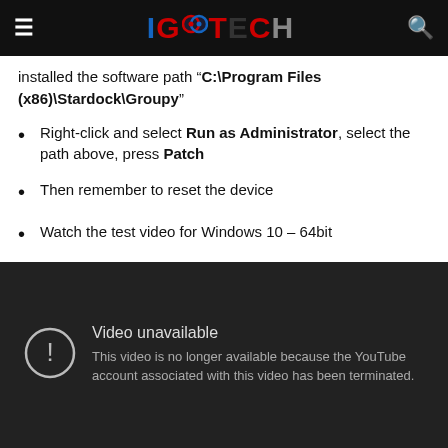IGGTECH
installed the software path "C:\Program Files (x86)\Stardock\Groupy"
Right-click and select Run as Administrator, select the path above, press Patch
Then remember to reset the device
Watch the test video for Windows 10 – 64bit
[Figure (screenshot): Embedded YouTube video player showing 'Video unavailable' error message: 'This video is no longer available because the YouTube account associated with this video has been terminated.']